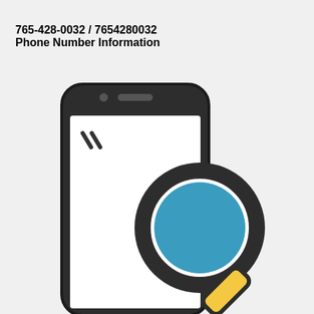765-428-0032 / 7654280032 Phone Number Information
[Figure (illustration): Icon illustration of a smartphone with a magnifying glass overlaid on its screen. The phone is drawn in dark charcoal outline style with rounded corners, a front camera dot and speaker slot visible at the top. The screen area is white with two diagonal slash marks in the upper left. A large magnifying glass with a teal/blue circular lens and a yellow handle is positioned over the lower-right portion of the phone screen.]